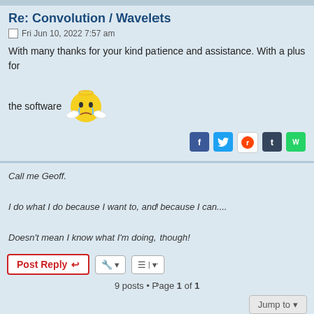Re: Convolution / Wavelets
Fri Jun 10, 2022 7:57 am
With many thanks for your kind patience and assistance. With a plus for the software [crying emoji]
[Figure (illustration): Crying yellow emoji face with wings/angel]
Call me Geoff.
I do what I do because I want to, and because I can....
Doesn't mean I know what I'm doing, though!
Post Reply | 9 posts • Page 1 of 1
Jump to
Solarchat! Forum Index | Delete cookies | All times are UTC
Powered by phpBB® Forum Software © phpBB Limited | Privacy | Terms